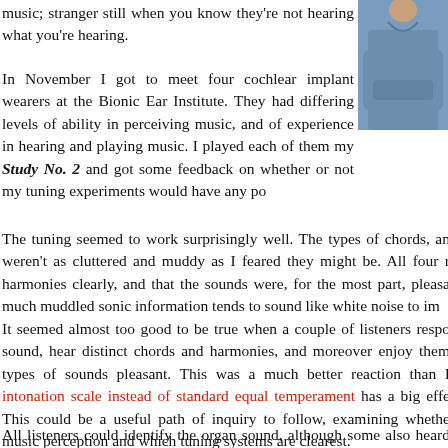music; stranger still when you know they're not hearing what you're hearing.
[Figure (photo): Photo of a person in a blue shirt, cropped to show torso and arms crossed]
In November I got to meet four cochlear implant wearers at the Bionic Ear Institute. They had differing levels of ability in perceiving music, and of experience in hearing and playing music. I played each of them my Study No. 2 and got some feedback on whether or not my tuning experiments would have any po
The tuning seemed to work surprisingly well. The types of chords, an weren't as cluttered and muddy as I feared they might be. All four r harmonies clearly, and that the sounds were, for the most part, pleasa much muddled sonic information tends to sound like white noise to im
It seemed almost too good to be true when a couple of listeners respo sound, hear distinct chords and harmonies, and moreover enjoy them types of sounds pleasant. This was a much better reaction than I intonation scale instead of standard equal temperament has a big effe This could be a useful path of inquiry to follow, examining whethe music perception and which tuning systems are clearest.
All listeners could identify the organ sound, although some also heard have been due to the synthesised nature of the sound, and the other ele